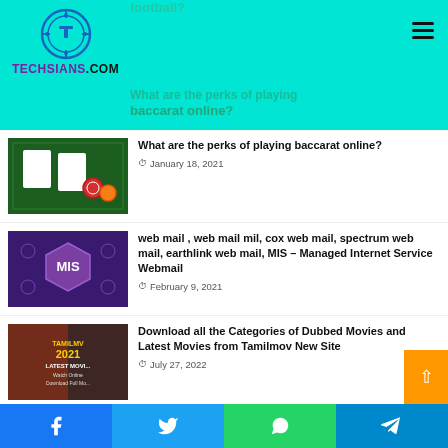Techsians.com
What are the perks of playing baccarat online?
January 18, 2021
web mail , web mail mil, cox web mail, spectrum web mail, earthlink web mail,  MIS – Managed Internet Service Webmail
February 9, 2021
Download all the Categories of Dubbed Movies and Latest Movies from Tamilmov New Site
July 27, 2022
Acquiring SEO Singapore Content For Your Website
Facebook  Twitter  WhatsApp  Telegram